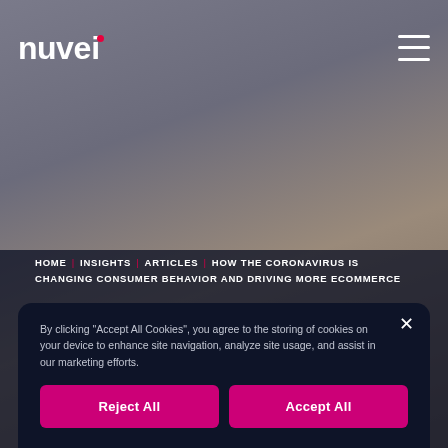nuvei
[Figure (photo): Blurred background photo of a person shopping online or handling packages, with dark overlay on lower section]
HOME | INSIGHTS | ARTICLES | HOW THE CORONAVIRUS IS CHANGING CONSUMER BEHAVIOR AND DRIVING MORE ECOMMERCE
By clicking "Accept All Cookies", you agree to the storing of cookies on your device to enhance site navigation, analyze site usage, and assist in our marketing efforts.
Reject All
Accept All